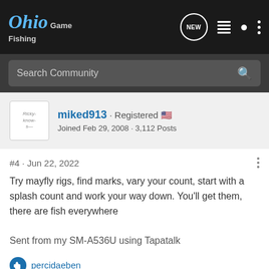Ohio Game Fishing
Search Community
miked913 · Registered
Joined Feb 29, 2008 · 3,112 Posts
#4 · Jun 22, 2022
Try mayfly rigs, find marks, vary your count, start with a splash count and work your way down. You'll get them, there are fish everywhere

Sent from my SM-A536U using Tapatalk
percidaeben